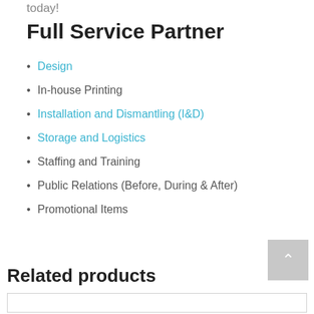today!
Full Service Partner
Design
In-house Printing
Installation and Dismantling (I&D)
Storage and Logistics
Staffing and Training
Public Relations (Before, During & After)
Promotional Items
Related products